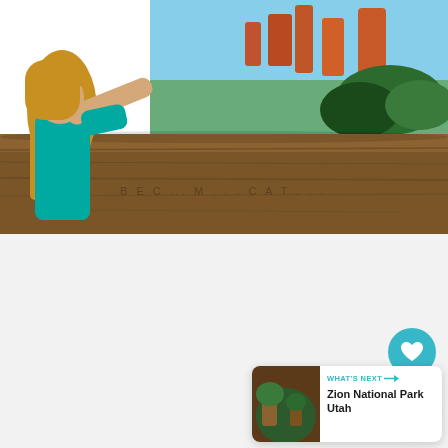[Figure (photo): Photo of a girl in a teal top leaning on a wooden fence/railing at Bryce Canyon National Park, with red rock hoodoos and green trees visible in the background]
[Figure (infographic): UI element area with a teal heart/favorite button, a white share button with plus icon, and a 'What's Next' card showing a thumbnail of nature and the text 'Zion National Park Utah']